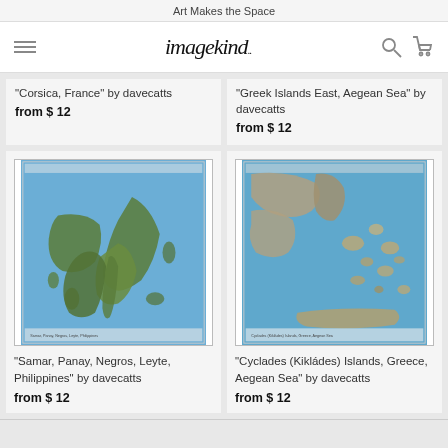Art Makes the Space
[Figure (logo): imagekind logo with hamburger menu, search and cart icons]
"Corsica, France" by davecatts
from $ 12
"Greek Islands East, Aegean Sea" by davecatts
from $ 12
[Figure (map): Satellite map of Samar, Panay, Negros, Leyte, Philippines showing islands in blue-green sea]
[Figure (map): Satellite map of Cyclades (Kikládes) Islands, Greece, Aegean Sea showing islands in blue sea]
"Samar, Panay, Negros, Leyte, Philippines" by davecatts
from $ 12
"Cyclades (Kikládes) Islands, Greece, Aegean Sea" by davecatts
from $ 12